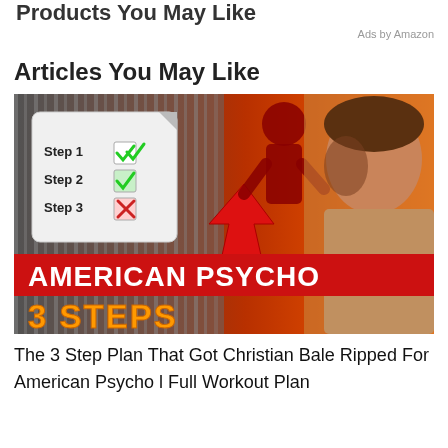Products You May Like
Ads by Amazon
Articles You May Like
[Figure (photo): Promotional thumbnail image for 'American Psycho 3 Steps' article featuring a checklist with Step 1 (checked), Step 2 (checked), Step 3 (red X), a red arrow, a muscular shirtless man resembling Christian Bale, with bold text reading AMERICAN PSYCHO 3 STEPS]
The 3 Step Plan That Got Christian Bale Ripped For American Psycho l Full Workout Plan